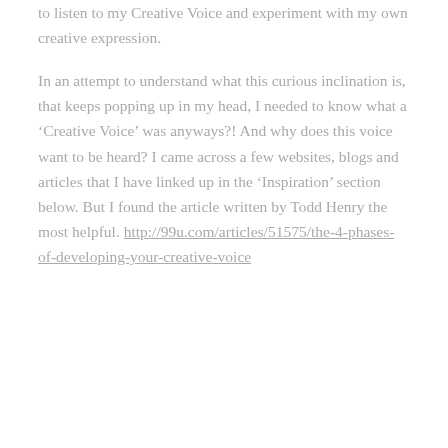to listen to my Creative Voice and experiment with my own creative expression.
In an attempt to understand what this curious inclination is, that keeps popping up in my head, I needed to know what a 'Creative Voice' was anyways?! And why does this voice want to be heard? I came across a few websites, blogs and articles that I have linked up in the 'Inspiration' section below. But I found the article written by Todd Henry the most helpful. http://99u.com/articles/51575/the-4-phases-of-developing-your-creative-voice